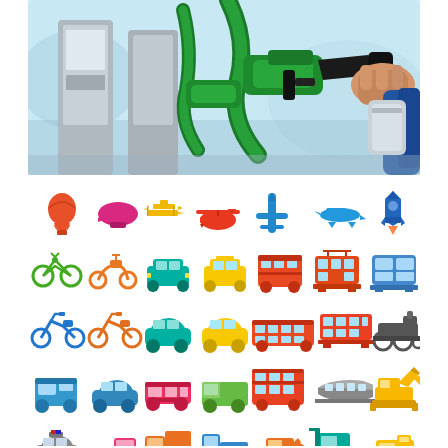[Figure (photo): Photo of a person's hand holding a green fuel pump nozzle at a gas station, with multiple pump nozzles visible in the foreground]
[Figure (illustration): Grid of colorful transportation icons including hot air balloon, blimp, biplane, helicopter, airplane, jet, rocket, bicycle, scooter, car, taxi, bus, tram, train, motorcycle, sedan, coach, double-decker bus, bullet train, excavator, van, truck, tractor, forklift, bulldozer and more in various colors]